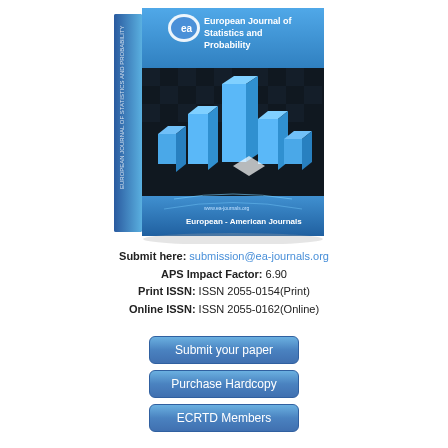[Figure (illustration): 3D book cover of European Journal of Statistics and Probability, showing a blue cover with 3D bar chart cubes on a dark checkerboard floor, published by European-American Journals]
Submit here: submission@ea-journals.org
APS Impact Factor: 6.90
Print ISSN: ISSN 2055-0154(Print)
Online ISSN: ISSN 2055-0162(Online)
Submit your paper
Purchase Hardcopy
ECRTD Members